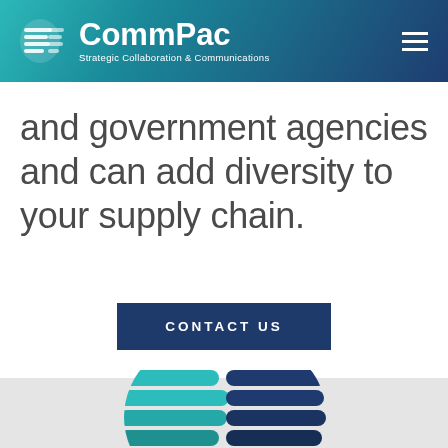[Figure (logo): CommPac logo with speech bubble icon made of horizontal lines, white text on teal-to-navy gradient header bar]
and government agencies and can add diversity to your supply chain.
CONTACT US
[Figure (logo): Large CommPac decorative logo icon showing two halves of a circle made of horizontal rounded bars in teal and dark navy colors]